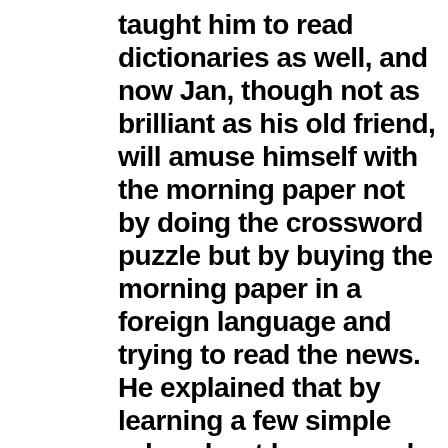taught him to read dictionaries as well, and now Jan, though not as brilliant as his old friend, will amuse himself with the morning paper not by doing the crossword puzzle but by buying the morning paper in a foreign language and trying to read the news. He explained that by learning a few simple rules about how sounds were carried into different languages you could sniff out the cognates even when